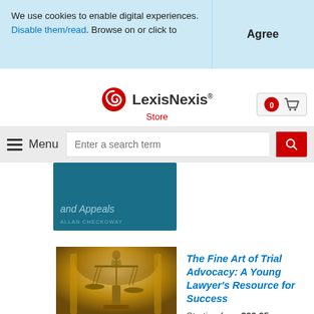We use cookies to enable digital experiences. Disable them/read. Browse on or click to
Agree
[Figure (logo): LexisNexis Store logo with red swirl icon]
Menu
Enter a search term
[Figure (photo): Teal book cover showing text 'and Appeals' and author name 'ALLAN CHECKOWAY']
[Figure (photo): Photo of scales of justice bronze statue in a courtroom]
The Fine Art of Trial Advocacy: A Young Lawyer's Resource for Success
Starting from $99.95
[Figure (other): Two tablet/eBook format icons]